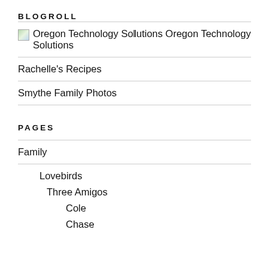BLOGROLL
Oregon Technology Solutions Oregon Technology Solutions
Rachelle's Recipes
Smythe Family Photos
PAGES
Family
Lovebirds
Three Amigos
Cole
Chase